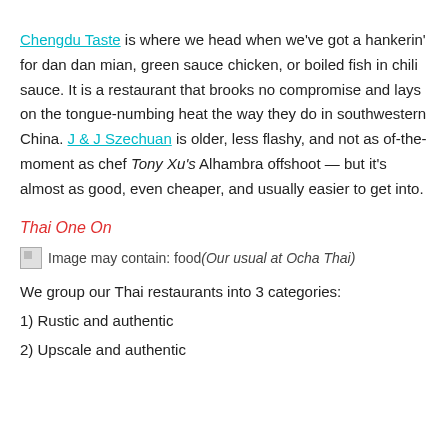Chengdu Taste is where we head when we’ve got a hankerin’ for dan dan mian, green sauce chicken, or boiled fish in chili sauce. It is a restaurant that brooks no compromise and lays on the tongue-numbing heat the way they do in southwestern China. J & J Szechuan is older, less flashy, and not as of-the-moment as chef Tony Xu’s Alhambra offshoot — but it’s almost as good, even cheaper, and usually easier to get into.
Thai One On
[Figure (photo): Image may contain: food. Caption: Our usual at Ocha Thai]
We group our Thai restaurants into 3 categories:
1) Rustic and authentic
2) Upscale and authentic